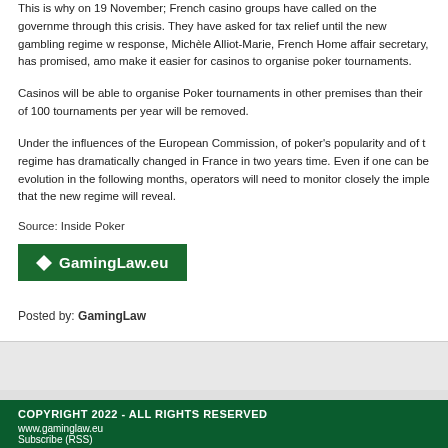This is why on 19 November; French casino groups have called on the government to help them through this crisis. They have asked for tax relief until the new gambling regime w… response, Michèle Alliot-Marie, French Home affair secretary, has promised, amo… make it easier for casinos to organise poker tournaments.
Casinos will be able to organise Poker tournaments in other premises than their o… of 100 tournaments per year will be removed.
Under the influences of the European Commission, of poker's popularity and of t… regime has dramatically changed in France in two years time. Even if one can be… evolution in the following months, operators will need to monitor closely the imple… that the new regime will reveal.
Source: Inside Poker
[Figure (logo): GamingLaw.eu green logo with white diamond icon and bold white text]
Posted by: GamingLaw
COPYRIGHT 2022 - ALL RIGHTS RESERVED
www.gaminglaw.eu
Subscribe (RSS)